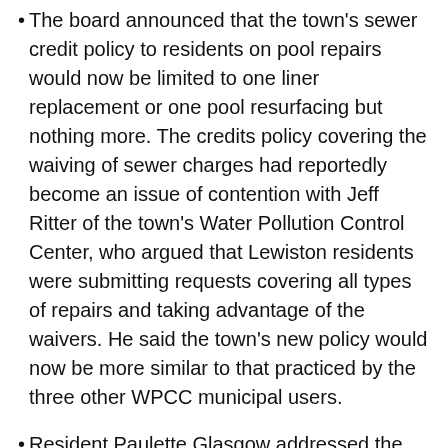The board announced that the town's sewer credit policy to residents on pool repairs would now be limited to one liner replacement or one pool resurfacing but nothing more. The credits policy covering the waiving of sewer charges had reportedly become an issue of contention with Jeff Ritter of the town's Water Pollution Control Center, who argued that Lewiston residents were submitting requests covering all types of repairs and taking advantage of the waivers. He said the town's new policy would now be more similar to that practiced by the three other WPCC municipal users.
Resident Paulette Glasgow addressed the board during community comments and chastised the Town Board on its retaining of Davis and Seaman as town attorneys due to the fact that neither are town residents. "You continue to act in violation of state law on this," said Glasgow, adding that Brochey had not been in favor of the practice but the board still opted to retain the two as town attorneys. "You need to take